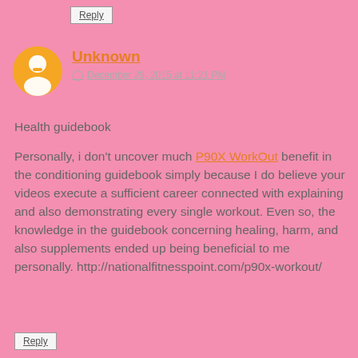Reply
Unknown
December 29, 2015 at 11:21 PM
Health guidebook

Personally, i don't uncover much P90X WorkOut benefit in the conditioning guidebook simply because I do believe your videos execute a sufficient career connected with explaining and also demonstrating every single workout. Even so, the knowledge in the guidebook concerning healing, harm, and also supplements ended up being beneficial to me personally. http://nationalfitnesspoint.com/p90x-workout/
Reply